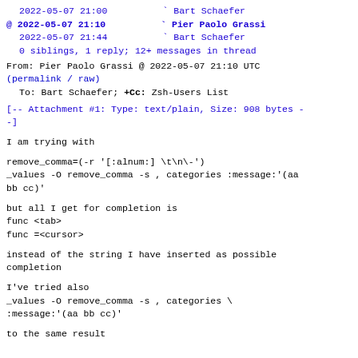2022-05-07 21:00          ` Bart Schaefer
@ 2022-05-07 21:10          ` Pier Paolo Grassi
  2022-05-07 21:44          ` Bart Schaefer
  0 siblings, 1 reply; 12+ messages in thread
From: Pier Paolo Grassi @ 2022-05-07 21:10 UTC
(permalink / raw)
  To: Bart Schaefer; +Cc: Zsh-Users List
[-- Attachment #1: Type: text/plain, Size: 908 bytes --]
I am trying with
remove_comma=(-r '[:alnum:] \t\n\-')
_values -O remove_comma -s , categories :message:'(aa
bb cc)'
but all I get for completion is
func <tab>
func =<cursor>
instead of the string I have inserted as possible
completion
I've tried also
_values -O remove_comma -s , categories \
:message:'(aa bb cc)'
to the same result